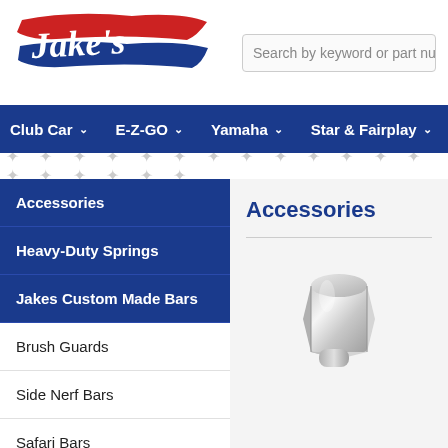[Figure (logo): Jake's logo with red and blue brushstroke background and cursive white text]
Search by keyword or part nu
Club Car  E-Z-GO  Yamaha  Star & Fairplay
Accessories
Heavy-Duty Springs
Jakes Custom Made Bars
Brush Guards
Side Nerf Bars
Safari Bars
Accessories
[Figure (photo): Silver chrome lug nut, hexagonal with tapered end]